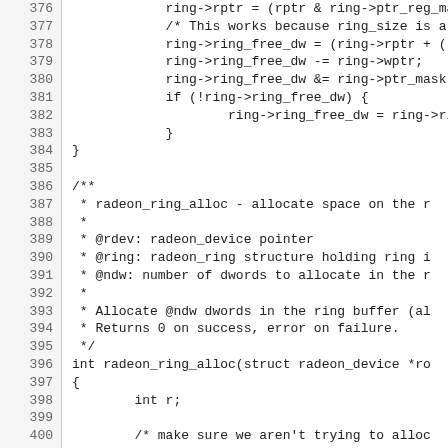[Figure (screenshot): Source code listing showing C code for radeon ring buffer management, lines 376-406, with line numbers in a left gutter and code in monospace font.]